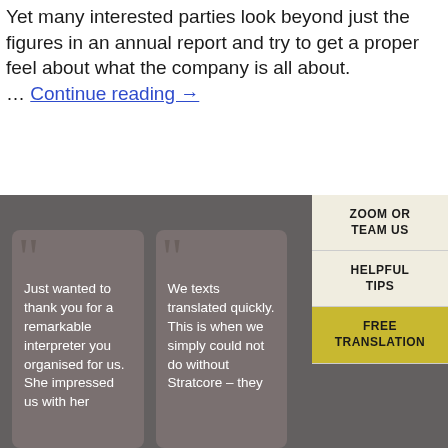Yet many interested parties look beyond just the figures in an annual report and try to get a proper feel about what the company is all about. … Continue reading →
ZOOM OR TEAM US
HELPFUL TIPS
FREE TRANSLATION
Just wanted to thank you for a remarkable interpreter you organised for us. She impressed us with her
We texts translated quickly. This is when we simply could not do without Stratcore – they